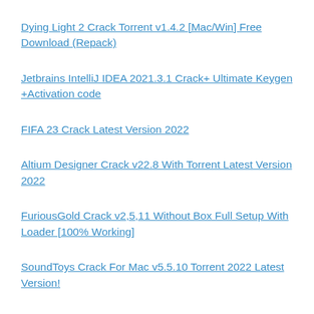Dying Light 2 Crack Torrent v1.4.2 [Mac/Win] Free Download (Repack)
Jetbrains IntelliJ IDEA 2021.3.1 Crack+ Ultimate Keygen +Activation code
FIFA 23 Crack Latest Version 2022
Altium Designer Crack v22.8 With Torrent Latest Version 2022
FuriousGold Crack v2,5,11 Without Box Full Setup With Loader [100% Working]
SoundToys Crack For Mac v5.5.10 Torrent 2022 Latest Version!